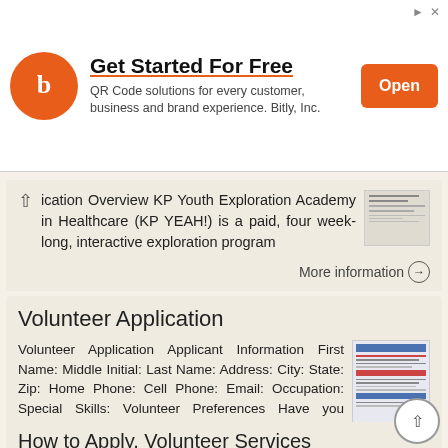[Figure (other): Advertisement banner for Bitly QR Code solutions with orange logo, title 'Get Started For Free', subtitle 'QR Code solutions for every customer, business and brand experience. Bitly, Inc.' and orange 'Open' button]
ication Overview KP Youth Exploration Academy in Healthcare (KP YEAH!) is a paid, four week-long, interactive exploration program
More information →
Volunteer Application
Volunteer Application Applicant Information First Name: Middle Initial: Last Name: Address: City: State: Zip: Home Phone: Cell Phone: Email: Occupation: Special Skills: Volunteer Preferences Have you previously
More information →
How to Apply, Volunteer Services